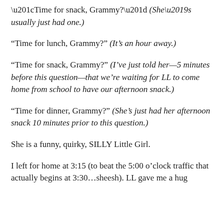“Time for snack, Grammy?” (She’s usually just had one.)
“Time for lunch, Grammy?” (It’s an hour away.)
“Time for snack, Grammy?” (I’ve just told her—5 minutes before this question—that we’re waiting for LL to come home from school to have our afternoon snack.)
“Time for dinner, Grammy?” (She’s just had her afternoon snack 10 minutes prior to this question.)
She is a funny, quirky, SILLY Little Girl.
I left for home at 3:15 (to beat the 5:00 o’clock traffic that actually begins at 3:30…sheesh). LL gave me a hug